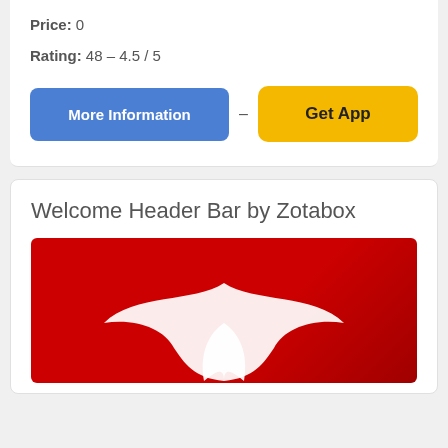Price: 0
Rating: 48 - 4.5 / 5
More Information
Get App
Welcome Header Bar by Zotabox
[Figure (photo): Red background image with a white bird/logo silhouette, appears to be a Zotabox promotional image]